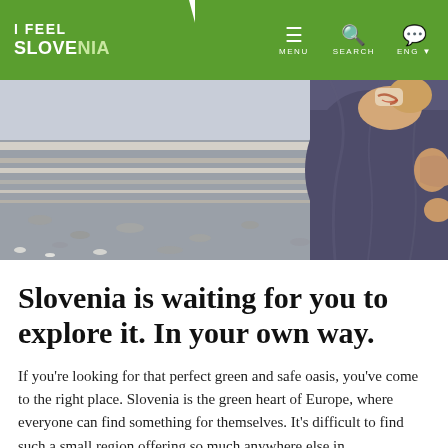I FEEL SLOVENIA — navigation header with MENU, SEARCH, ENG options
[Figure (photo): Close-up photo of a person in dark blue/purple athletic leggings sitting on a rocky/pebbly surface, with a bandaged or injured arm visible, set against a blurred outdoor background.]
Slovenia is waiting for you to explore it. In your own way.
If you're looking for that perfect green and safe oasis, you've come to the right place. Slovenia is the green heart of Europe, where everyone can find something for themselves. It's difficult to find such a small region offering so much anywhere else in